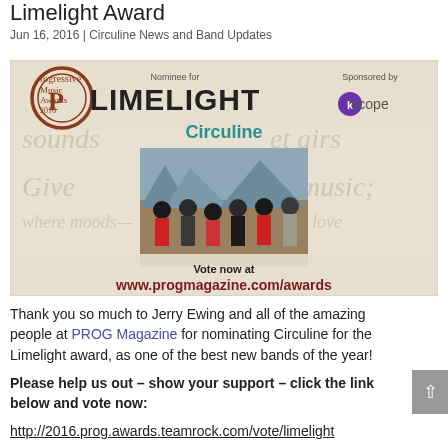Limelight Award
Jun 16, 2016 | Circuline News and Band Updates
[Figure (photo): Promotional banner for Progressive Music Awards 2016 Limelight Award nomination. Shows the Progressive Music Awards logo, 'Nominee for LIMELIGHT' text, 'Circuline' in teal, a group photo of the band, 'Sponsored by Kscope', and 'Vote now at www.progmagazine.com/awards'.]
Thank you so much to Jerry Ewing and all of the amazing people at PROG Magazine for nominating Circuline for the Limelight award, as one of the best new bands of the year!
Please help us out – show your support – click the link below and vote now:
http://2016.prog.awards.teamrock.com/vote/limelight